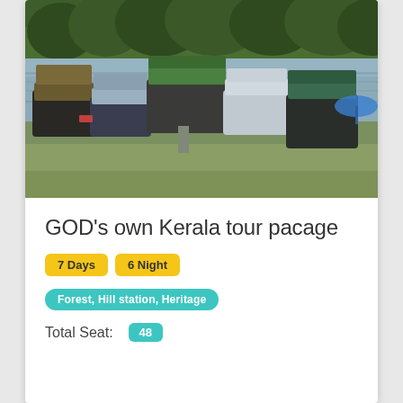[Figure (photo): Boats docked at a lakeside in Kerala, India. Several colorful passenger boats are moored on a grassy shore with a calm lake and dense green forest in the background.]
GOD's own Kerala tour pacage
7 Days  6 Night
Forest, Hill station, Heritage
Total Seat: 48